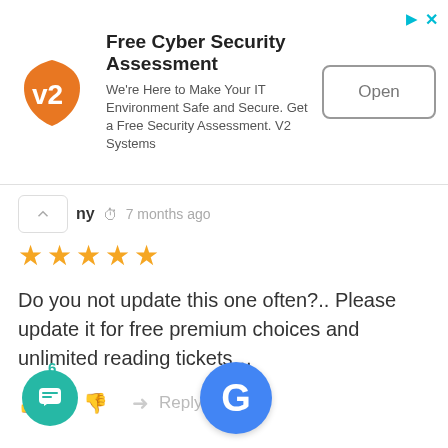[Figure (screenshot): Advertisement banner for Free Cyber Security Assessment by V2 Systems with logo, text, and Open button]
ny  7 months ago
[Figure (other): 5 yellow star rating]
Do you not update this one often?.. Please update it for free premium choices and unlimited reading tickets…
👍 0 👎   ➜ Reply